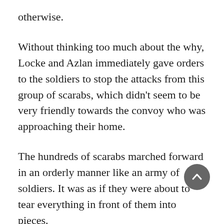otherwise.
Without thinking too much about the why, Locke and Azlan immediately gave orders to the soldiers to stop the attacks from this group of scarabs, which didn't seem to be very friendly towards the convoy who was approaching their home.
The hundreds of scarabs marched forward in an orderly manner like an army of soldiers. It was as if they were about to tear everything in front of them into pieces.
"The abdomen is their weak point." After saying that, Nala and...